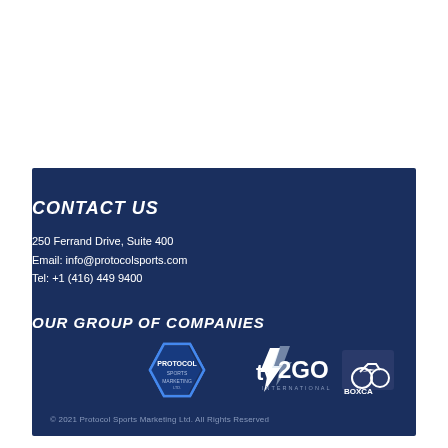CONTACT US
250 Ferrand Drive, Suite 400
Email: info@protocolsports.com
Tel: +1 (416) 449 9400
OUR GROUP OF COMPANIES
[Figure (logo): Protocol Sports Marketing logo, TV2GO International logo, and Boxcast logo]
© 2021 Protocol Sports Marketing Ltd. All Rights Reserved